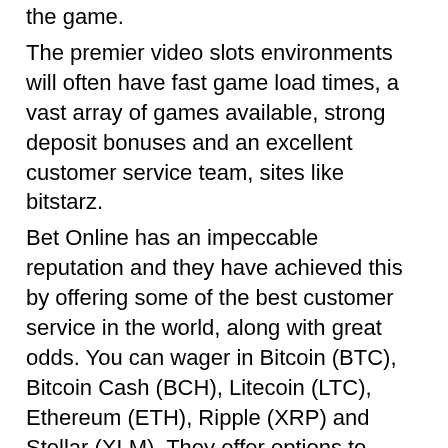the game.
The premier video slots environments will often have fast game load times, a vast array of games available, strong deposit bonuses and an excellent customer service team, sites like bitstarz.
Bet Online has an impeccable reputation and they have achieved this by offering some of the best customer service in the world, along with great odds. You can wager in Bitcoin (BTC), Bitcoin Cash (BCH), Litecoin (LTC), Ethereum (ETH), Ripple (XRP) and Stellar (XLM). They offer options to wager on nearly any sporting event that you can think of, sites like bitstarz.
Bitstarz код бонуса на депозит
Find more bitcoin casino reviews like this one, bitstarz ei talletusbonusta 20 giri gratuiti. Other quality bitcoin sites that you